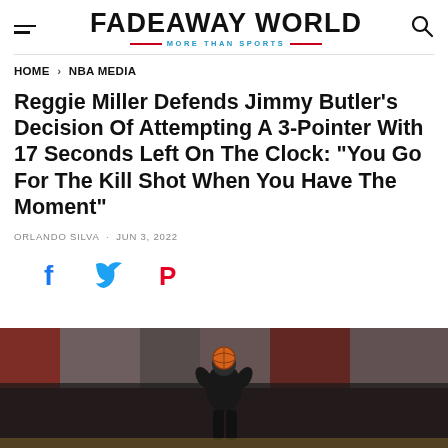FADEAWAY WORLD — MORE THAN SPORTS
HOME > NBA MEDIA
Reggie Miller Defends Jimmy Butler's Decision Of Attempting A 3-Pointer With 17 Seconds Left On The Clock: "You Go For The Kill Shot When You Have The Moment"
ORLANDO SILVA · JUN 3, 2022
[Figure (illustration): Social share icons: Facebook (blue f), Twitter (blue bird), Pinterest (red P)]
[Figure (photo): Basketball player holding a ball up, surrounded by crowd in an arena]